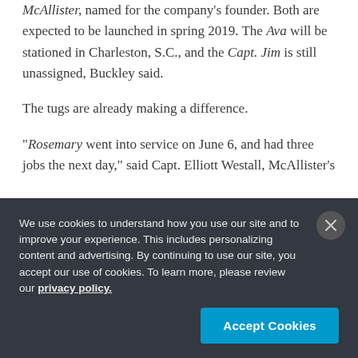McAllister, named for the company's founder. Both are expected to be launched in spring 2019. The Ava will be stationed in Charleston, S.C., and the Capt. Jim is still unassigned, Buckley said.
The tugs are already making a difference.
"Rosemary went into service on June 6, and had three jobs the next day," said Capt. Elliott Westall, McAllister's
We use cookies to understand how you use our site and to improve your experience. This includes personalizing content and advertising. By continuing to use our site, you accept our use of cookies. To learn more, please review our privacy policy.
Accept Cookies